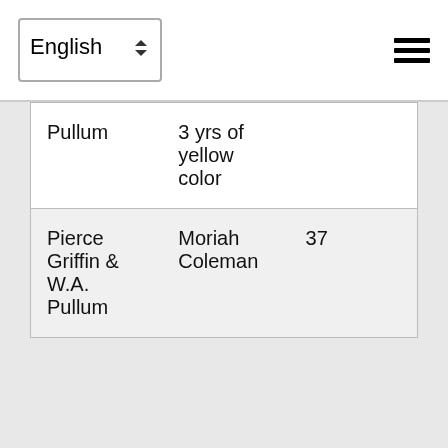English [language selector] [hamburger menu]
| Pullum | 3 yrs of yellow color |  |
| Pierce Griffin & W.A. Pullum | Moriah Coleman | 37 |